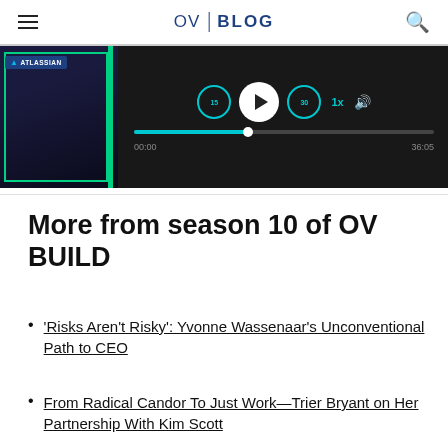OV | BLOG
[Figure (screenshot): Audio/podcast player showing Atlassian thumbnail, playback controls with 15s rewind, play button, 30s forward, progress bar at 00:00 of 36:05, speed at 1x, and volume control]
More from season 10 of OV BUILD
'Risks Aren't Risky': Yvonne Wassenaar's Unconventional Path to CEO
From Radical Candor To Just Work—Trier Bryant on Her Partnership With Kim Scott